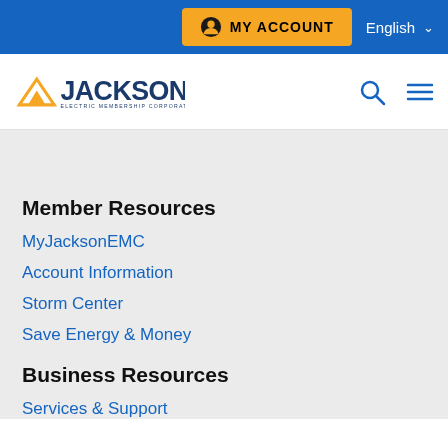MY ACCOUNT  English
[Figure (logo): Jackson Electric Membership Corporation logo — blue and gold]
Member Resources
MyJacksonEMC
Account Information
Storm Center
Save Energy & Money
Business Resources
Services & Support